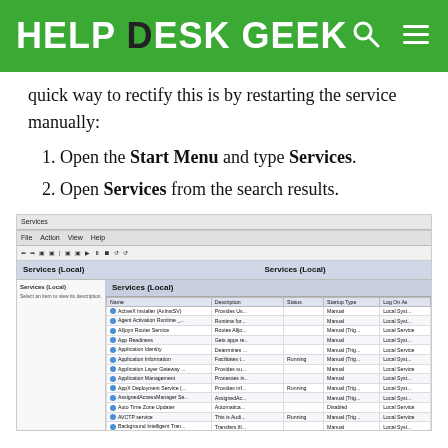HELP DESK GEEK
quick way to rectify this is by restarting the service manually:
1. Open the Start Menu and type Services.
2. Open Services from the search results.
[Figure (screenshot): Windows Services dialog showing a list of system services with columns for Name, Description, Status, Startup Type, and Log On As.]